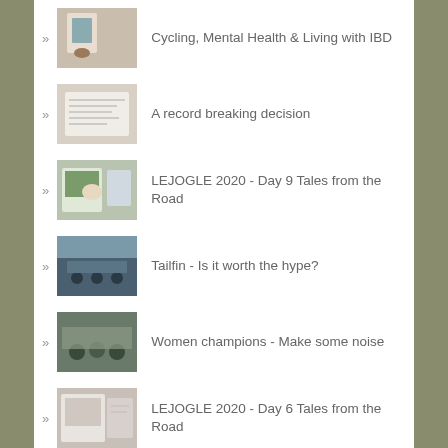Cycling, Mental Health & Living with IBD
A record breaking decision
LEJOGLE 2020 - Day 9 Tales from the Road
Tailfin - Is it worth the hype?
Women champions - Make some noise
LEJOGLE 2020 - Day 6 Tales from the Road
Road to GB Duro - The Dales Divide